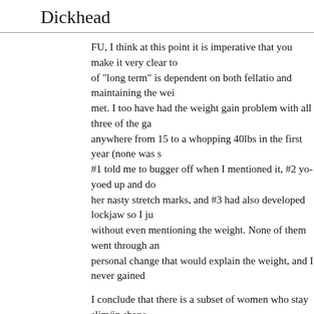Dickhead
FU, I think at this point it is imperative that you make it very clear to of "long term" is dependent on both fellatio and maintaining the wei met. I too have had the weight gain problem with all three of the ga anywhere from 15 to a whopping 40lbs in the first year (none was s #1 told me to bugger off when I mentioned it, #2 yo-yoed up and d her nasty stretch marks, and #3 had also developed lockjaw so I ju without even mentioning the weight. None of them went through an personal change that would explain the weight, and I never gained
I conclude that there is a subset of women who stay slim/in shape boyfriend, and then let themselves go. Seems like false advertising
Maybe I should change my name from Dickhead to I Gave Up A Lo The God Damn Hookers.
Joe Zop
I think you're correct about some women and weight, Dickhead, tho make the distinction by gender, as I've seen the same thing happen to mention radical shifts in style of dress once hooked up, usually n
And though I scream to the heavens that I don't want to make this